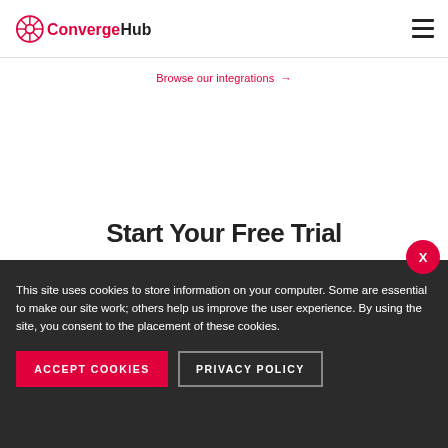ConvergeHub [logo] | hamburger menu
Browse our integrations →
Start Your Free Trial
This site uses cookies to store information on your computer. Some are essential to make our site work; others help us improve the user experience. By using the site, you consent to the placement of these cookies.
ACCEPT COOKIES
PRIVACY POLICY